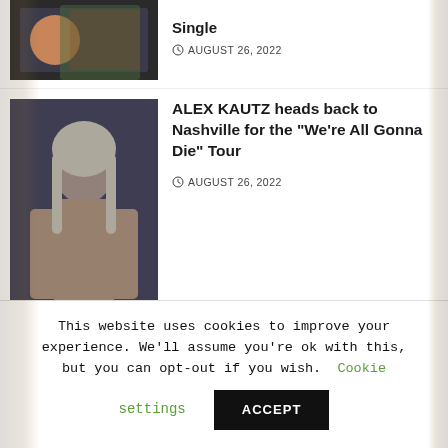[Figure (photo): Partial top article thumbnail showing person in floral shirt]
Single
AUGUST 26, 2022
[Figure (photo): Photo of Alex Kautz - shirtless man with long blond hair and tattoos]
ALEX KAUTZ heads back to Nashville for the “We’re All Gonna Die” Tour
AUGUST 26, 2022
[Figure (photo): Photo of older Black man wearing a blue head wrap, smiling, in a car]
The exemplary example’s of great’s from our past living the life of truth in our human experience is recognized and amplified in Keithus I latest
This website uses cookies to improve your experience. We’ll assume you’re ok with this, but you can opt-out if you wish. Cookie settings ACCEPT